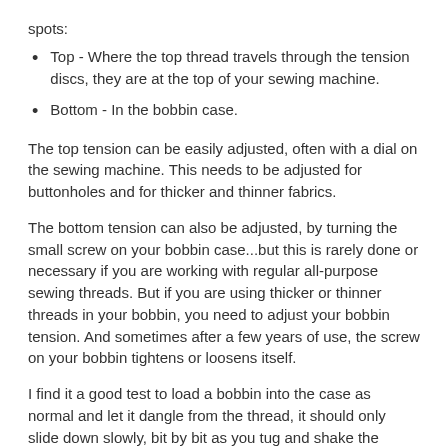spots:
Top - Where the top thread travels through the tension discs, they are at the top of your sewing machine.
Bottom - In the bobbin case.
The top tension can be easily adjusted, often with a dial on the sewing machine. This needs to be adjusted for buttonholes and for thicker and thinner fabrics.
The bottom tension can also be adjusted, by turning the small screw on your bobbin case...but this is rarely done or necessary if you are working with regular all-purpose sewing threads. But if you are using thicker or thinner threads in your bobbin, you need to adjust your bobbin tension. And sometimes after a few years of use, the screw on your bobbin tightens or loosens itself.
I find it a good test to load a bobbin into the case as normal and let it dangle from the thread, it should only slide down slowly, bit by bit as you tug and shake the thread. If it slides down, it means it has too much tension.